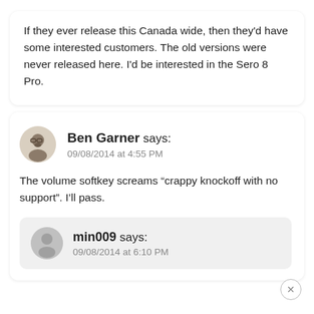If they ever release this Canada wide, then they'd have some interested customers. The old versions were never released here. I'd be interested in the Sero 8 Pro.
Ben Garner says: 09/08/2014 at 4:55 PM
The volume softkey screams "crappy knockoff with no support". I'll pass.
min009 says: 09/08/2014 at 6:10 PM